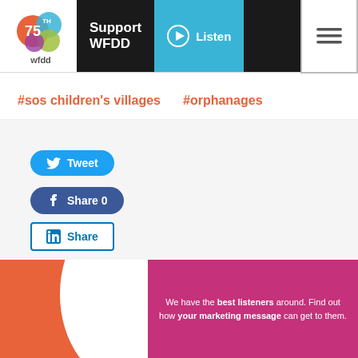WFDD 75th — Support WFDD | Listen
#sos children's villages   #orphanages
Tweet
Share 0
Share
[Figure (infographic): WFDD advertisement banner with orange left panel with white curve cutout and magenta circle containing text: We have the best listeners around. Find out how your marketing message can get to them.]